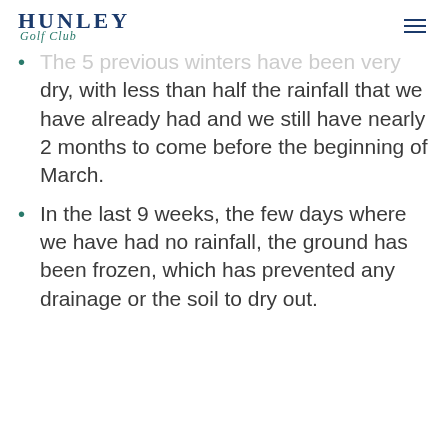HUNLEY Golf Club
The 5 previous winters have been very dry, with less than half the rainfall that we have already had and we still have nearly 2 months to come before the beginning of March.
In the last 9 weeks, the few days where we have had no rainfall, the ground has been frozen, which has prevented any drainage or the soil to dry out.